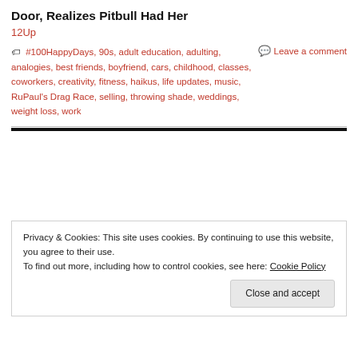Door, Realizes Pitbull Had Her
12Up
#100HappyDays, 90s, adult education, adulting, analogies, best friends, boyfriend, cars, childhood, classes, coworkers, creativity, fitness, haikus, life updates, music, RuPaul's Drag Race, selling, throwing shade, weddings, weight loss, work
Leave a comment
Privacy & Cookies: This site uses cookies. By continuing to use this website, you agree to their use.
To find out more, including how to control cookies, see here: Cookie Policy
Close and accept